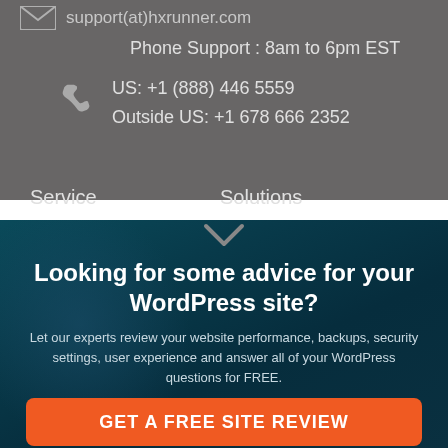support(at)hxrunner.com
Phone Support : 8am to 6pm EST
US: +1 (888) 446 5559
Outside US: +1 678 666 2352
Service
Solutions
Looking for some advice for your WordPress site?
Let our experts review your website performance, backups, security settings, user experience and answer all of your WordPress questions for FREE.
GET A FREE SITE REVIEW